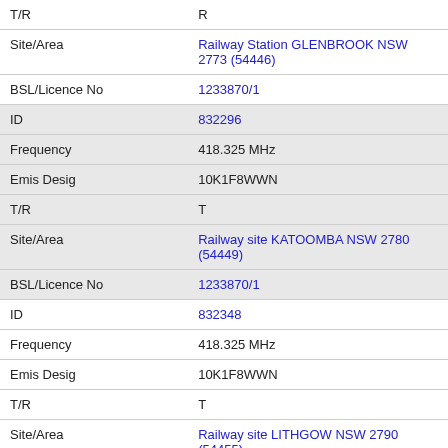| T/R | R |
| Site/Area | Railway Station GLENBROOK NSW 2773 (54446) |
| BSL/Licence No | 1233870/1 |
| ID | 832296 |
| Frequency | 418.325 MHz |
| Emis Desig | 10K1F8WWN |
| T/R | T |
| Site/Area | Railway site KATOOMBA NSW 2780 (54449) |
| BSL/Licence No | 1233870/1 |
| ID | 832348 |
| Frequency | 418.325 MHz |
| Emis Desig | 10K1F8WWN |
| T/R | T |
| Site/Area | Railway site LITHGOW NSW 2790 (54455) |
| BSL/Licence No | 1233870/1 |
| ID | 832351 |